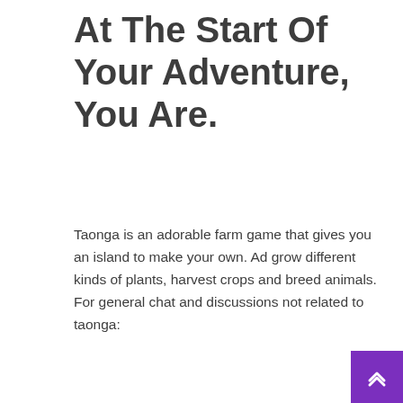At The Start Of Your Adventure, You Are.
Taonga is an adorable farm game that gives you an island to make your own. Ad grow different kinds of plants, harvest crops and breed animals. For general chat and discussions not related to taonga:
See also  Best Healing Food Genshin Impact
Hidden Somewhere In The Ocean Is Taonga, The Island Farm, With Its